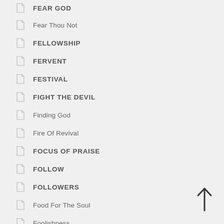FEAR GOD
Fear Thou Not
FELLOWSHIP
FERVENT
FESTIVAL
FIGHT THE DEVIL
Finding God
Fire Of Revival
FOCUS OF PRAISE
FOLLOW
FOLLOWERS
Food For The Soul
Foolishness
Forgetfulness Is A Plague Of Humanity
FORGIVE